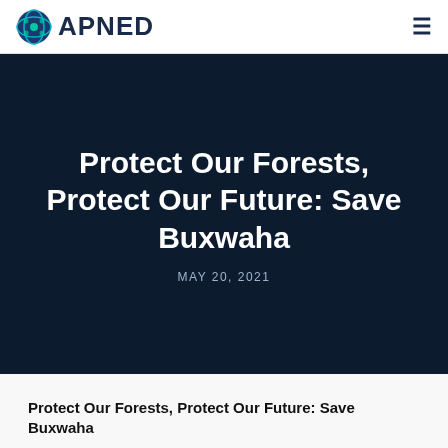APNED
Protect Our Forests, Protect Our Future: Save Buxwaha
MAY 20, 2021
Protect Our Forests, Protect Our Future: Save Buxwaha
Submitted by APNED member, Renuka Kad of Vikas Adhyayan Kendra